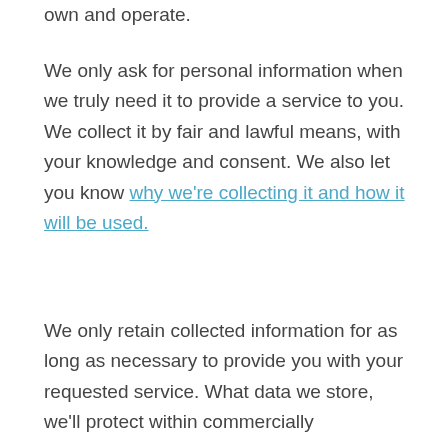own and operate.
We only ask for personal information when we truly need it to provide a service to you. We collect it by fair and lawful means, with your knowledge and consent. We also let you know why we're collecting it and how it will be used.
We only retain collected information for as long as necessary to provide you with your requested service. What data we store, we'll protect within commercially